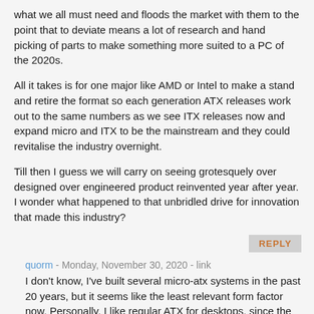what we all must need and floods the market with them to the point that to deviate means a lot of research and hand picking of parts to make something more suited to a PC of the 2020s.
All it takes is for one major like AMD or Intel to make a stand and retire the format so each generation ATX releases work out to the same numbers as we see ITX releases now and expand micro and ITX to be the mainstream and they could revitalise the industry overnight.
Till then I guess we will carry on seeing grotesquely over designed over engineered product reinvented year after year. I wonder what happened to that unbridled drive for innovation that made this industry?
REPLY
quorm - Monday, November 30, 2020 - link
I don't know, I've built several micro-atx systems in the past 20 years, but it seems like the least relevant form factor now. Personally, I like regular ATX for desktops, since the extra slots and space is sometimes useful, and it can still fit under a desk. Mini ITX has a clear place for compact builds, and it looks like there are at least 10 mini ITX x570 or b550 mobos for sale. Not sure what else you want to see in the relatively small market for enthusiasts who build their own pc.